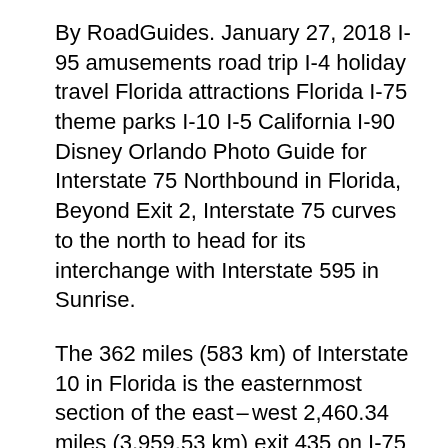By RoadGuides. January 27, 2018 I-95 amusements road trip I-4 holiday travel Florida attractions Florida I-75 theme parks I-10 I-5 California I-90 Disney Orlando Photo Guide for Interstate 75 Northbound in Florida, Beyond Exit 2, Interstate 75 curves to the north to head for its interchange with Interstate 595 in Sunrise.
The 362 miles (583 km) of Interstate 10 in Florida is the easternmost section of the eastвЂ"west 2,460.34 miles (3,959.53 km) exit 435 on I-75 Real-Time Traffic: Tampa, Florida. stopped at most of them in our twenty plus years traveling between New England and